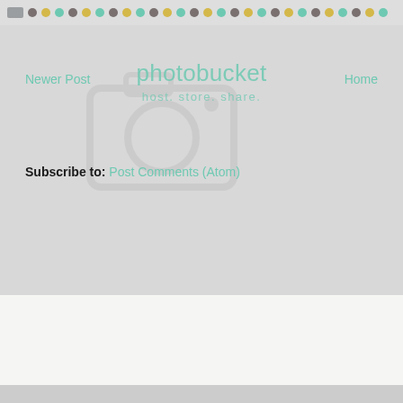[Figure (screenshot): Top decorative dot/circle pattern bar with alternating colored dots (teal, yellow, mauve/grey) and a small rectangle on grey background]
[Figure (screenshot): Photobucket website interface showing navigation links 'Newer Post' and 'Home', Photobucket logo with camera icon, tagline 'host. store. share.' and subscribe line]
Subscribe to: Post Comments (Atom)
[Figure (screenshot): White/light grey blank content area below the header navigation]